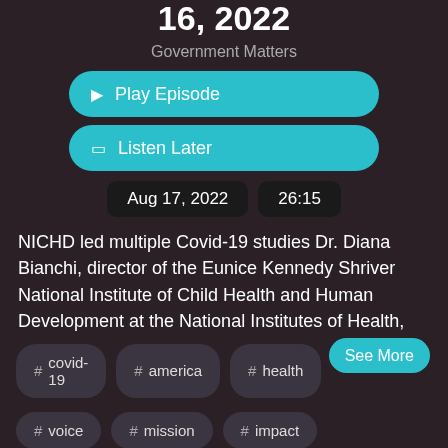16, 2022
Government Matters
▶ Play Episode
🔖 Listen Later
Aug 17, 2022   26:15
NICHD led multiple Covid-19 studies Dr. Diana Bianchi, director of the Eunice Kennedy Shriver National Institute of Child Health and Human Development at the National Institutes of Health,
See More
# covid-19
# america
# health
# voice
# mission
# impact